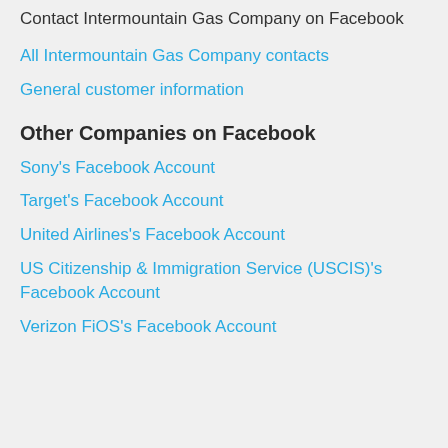Contact Intermountain Gas Company on Facebook
All Intermountain Gas Company contacts
General customer information
Other Companies on Facebook
Sony's Facebook Account
Target's Facebook Account
United Airlines's Facebook Account
US Citizenship & Immigration Service (USCIS)'s Facebook Account
Verizon FiOS's Facebook Account